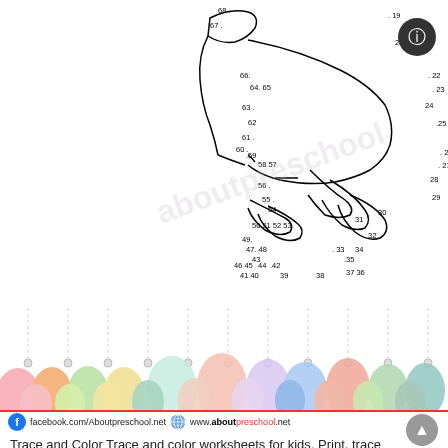[Figure (illustration): Connect-the-dots worksheet showing a duck shape with numbered dots from 19 to 68, partially connected with lines to form a duck outline. Numbers visible include 19-68 arranged around the duck shape.]
[Figure (illustration): Row of colorful pastel Easter eggs of varying sizes hanging on dotted lines, in colors including pink, orange, green, yellow, mint, peach, lavender, blue, salmon, light green, teal.]
facebook.com/Aboutpreschool.net  www.aboutpreschool.net
Trace and Color Trace and color worksheets for kids. Print, trace and color the pages. These pages are designed to improve pencil control. Coloring Pages Trace and Color. Kids can practice fine motor skills with